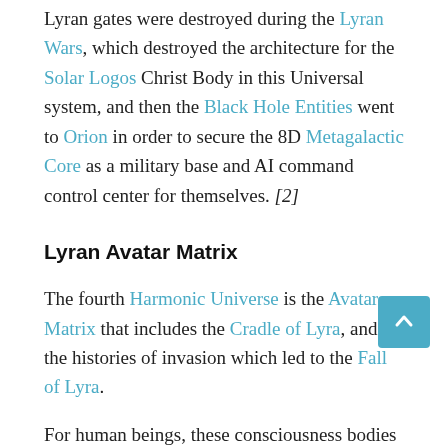Lyran gates were destroyed during the Lyran Wars, which destroyed the architecture for the Solar Logos Christ Body in this Universal system, and then the Black Hole Entities went to Orion in order to secure the 8D Metagalactic Core as a military base and AI command control center for themselves. [2]
Lyran Avatar Matrix
The fourth Harmonic Universe is the Avatar Matrix that includes the Cradle of Lyra, and the histories of invasion which led to the Fall of Lyra.
For human beings, these consciousness bodies exist throughout the densities and are aspects of the higher self and Lightbody.These aspects are